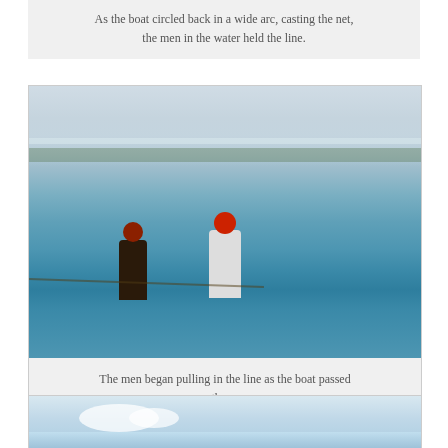As the boat circled back in a wide arc, casting the net, the men in the water held the line.
[Figure (photo): Two men standing waist-deep in clear blue-green water, holding a fishing net line. A distant coastline with low vegetation is visible on the horizon under a hazy sky.]
The men began pulling in the line as the boat passed them.
[Figure (photo): Partial view of a coastal scene with blue sky and clouds visible at the top of the frame.]